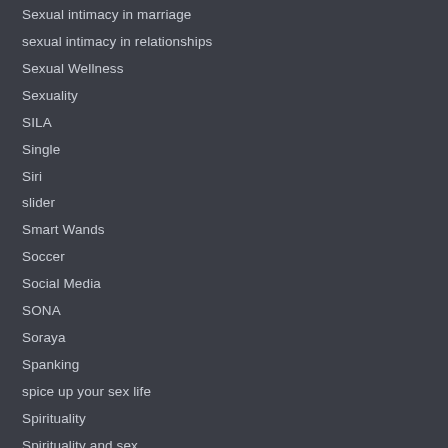Sexual intimacy in marriage
sexual intimacy in relationships
Sexual Wellness
Sexuality
SILA
Single
Siri
slider
Smart Wands
Soccer
Social Media
SONA
Soraya
Spanking
spice up your sex life
Spirituality
Spirituality and sex
Squirting
STI